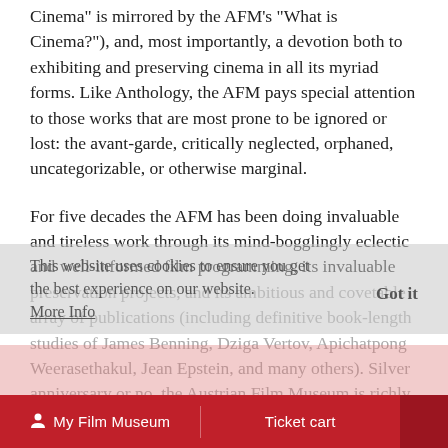Cinema" is mirrored by the AFM's "What is Cinema?"), and, most importantly, a devotion both to exhibiting and preserving cinema in all its myriad forms. Like Anthology, the AFM pays special attention to those works that are most prone to be ignored or lost: the avant-garde, critically neglected, orphaned, uncategorizable, or otherwise marginal.
For five decades the AFM has been doing invaluable and tireless work through its mind-bogglingly eclectic and well-informed film programming, its invaluable preservation projects, and its ambitious and covetable array of publications (including definitive book-length studies of James Benning, Dziga Vertov, Apichatpong Weerasethakul, Jean Epstein, and many others). Silver anniversary or no, the Austrian Film Museum is richly deserving of celebration, and Anthology is thrilled to pay tribute to them with a series that provides a once-in-a-lifetime opportunity to plumb the depths of their vaults.
This website uses cookies to ensure you get the best experience on our website.
More Info
Got it
My Film Museum   Ticket cart